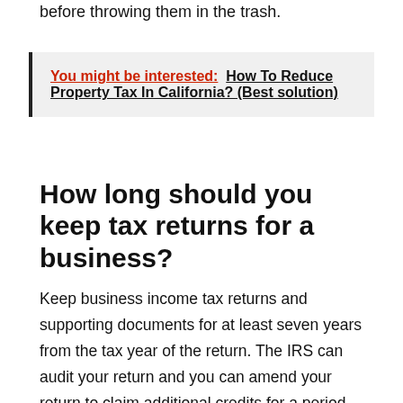before throwing them in the trash.
You might be interested:  How To Reduce Property Tax In California? (Best solution)
How long should you keep tax returns for a business?
Keep business income tax returns and supporting documents for at least seven years from the tax year of the return. The IRS can audit your return and you can amend your return to claim additional credits for a period that varies from three to seven years from the date you first filed.